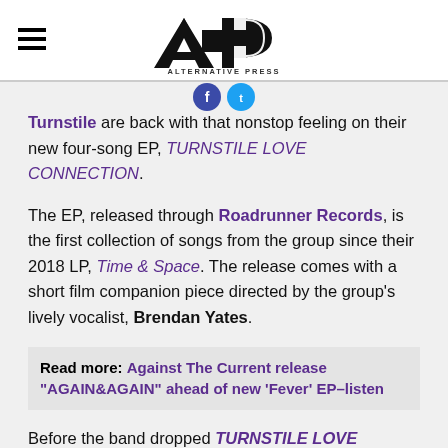Alternative Press logo with hamburger menu
Turnstile are back with that nonstop feeling on their new four-song EP, TURNSTILE LOVE CONNECTION.
The EP, released through Roadrunner Records, is the first collection of songs from the group since their 2018 LP, Time & Space. The release comes with a short film companion piece directed by the group's lively vocalist, Brendan Yates.
Read more: Against The Current release "AGAIN&AGAIN" ahead of new 'Fever' EP–listen
Before the band dropped TURNSTILE LOVE CONNECTION via YouTube, the film was screened across the U.S. at a